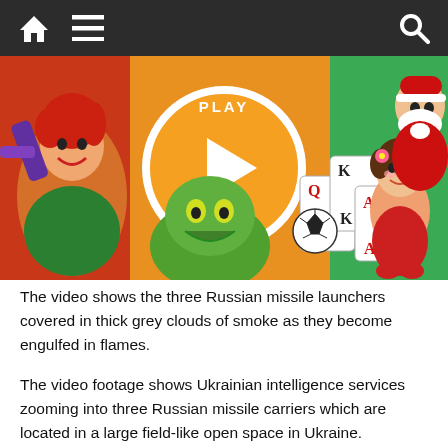Navigation bar with home, menu, and search icons
[Figure (illustration): Colorful online games advertisement banner featuring animated characters: a red-haired fighting game character on the left, a green monster creature in the center, a Santa Claus figure and child soccer player on the right, with playing cards (Q, K, A) and a soccer ball. A large orange circle with a white play button triangle in the center displays 'PLAY ONLINE' text.]
The video shows the three Russian missile launchers covered in thick grey clouds of smoke as they become engulfed in flames.
The video footage shows Ukrainian intelligence services zooming into three Russian missile carriers which are located in a large field-like open space in Ukraine.
After the missile carriers are hit, all three erupt into